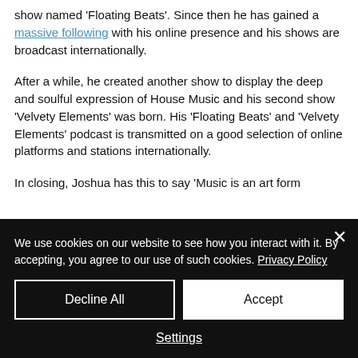show named 'Floating Beats'. Since then he has gained a massive following with his online presence and his shows are broadcast internationally.
After a while, he created another show to display the deep and soulful expression of House Music and his second show 'Velvety Elements' was born. His 'Floating Beats' and 'Velvety Elements' podcast is transmitted on a good selection of online platforms and stations internationally.
In closing, Joshua has this to say 'Music is an art form...' [text continues below fold]
We use cookies on our website to see how you interact with it. By accepting, you agree to our use of such cookies. Privacy Policy
Decline All
Accept
Settings